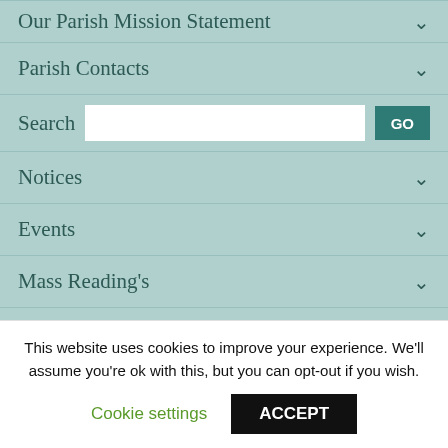Our Parish Mission Statement
Parish Contacts
Search
Notices
Events
Mass Reading's
News and Publications
Safeguarding Children
This website uses cookies to improve your experience. We'll assume you're ok with this, but you can opt-out if you wish.
Cookie settings
ACCEPT